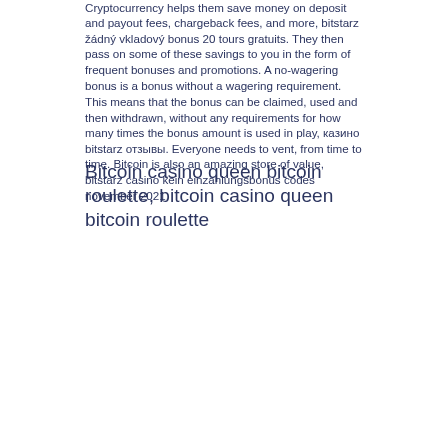Cryptocurrency helps them save money on deposit and payout fees, chargeback fees, and more, bitstarz žádný vkladový bonus 20 tours gratuits. They then pass on some of these savings to you in the form of frequent bonuses and promotions. A no-wagering bonus is a bonus without a wagering requirement. This means that the bonus can be claimed, used and then withdrawn, without any requirements for how many times the bonus amount is used in play, казино bitstarz отзывы. Everyone needs to vent, from time to time. Bitcoin is also an amazing store of value, bitstarz casino kein einzahlungsbonus codes november 2021.
Bitcoin casino queen bitcoin roulette, bitcoin casino queen bitcoin roulette